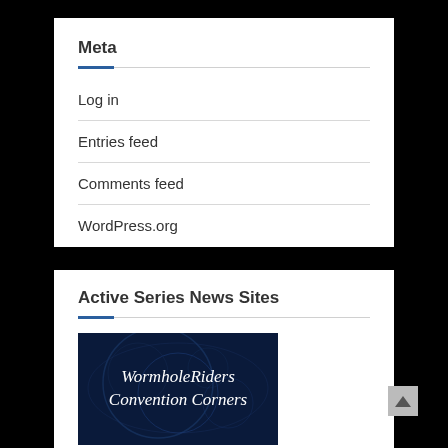Meta
Log in
Entries feed
Comments feed
WordPress.org
Active Series News Sites
[Figure (illustration): WormholeRiders Convention Corners banner image with dark blue background and white italic text]